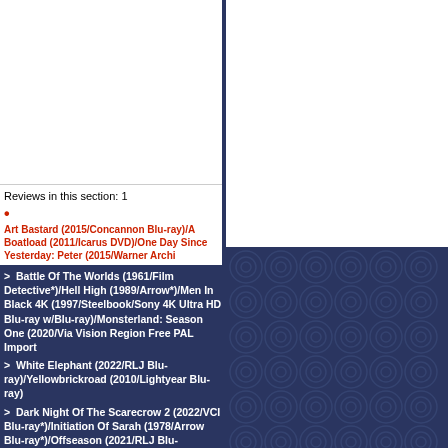> Fanny: The Right To Rock (2022/Film Movement DVD)/Gallant Indies (2022/Icarus DVD)/Re-Flex: Vibrate Generate (2022 remixes/Warner/Cherry Pop CD Set)/Sons Of Adam: Saturday's Sons The Complete Recordin
> Baby Assassins (2021/Well Go Blu-ray)/Chocky: The Complete Series (1984 - 1986/Via Vision PAL Import DVD Set)/Eraser: Reborn (2022/Warner Blu-ray)/God Told Me To 4K (1975 aka Demon/MVD/Blue Undergroun
> Adventures Of Don Juan (1948*)/Cinderella (2022/Sony Blu-ray)/Dona Flor and Her Two Husbands (1976/Film Movement Blu-ray)/Downton Abbey: A New Era 4K (2022/Universal 4K Blu-ray w/Blu-ray)/The Frisco K
> Battle Of The Worlds (1961/Film Detective*)/Hell High (1989/Arrow*)/Men In Black 4K (1997/Steelbook/Sony 4K Ultra HD Blu-ray w/Blu-ray)/Monsterland: Season One (2020/Via Vision Region Free PAL Import
> White Elephant (2022/RLJ Blu-ray)/Yellowbrickroad (2010/Lightyear Blu-ray)
> Dark Night Of The Scarecrow 2 (2022/VCI Blu-ray*)/Initiation Of Sarah (1978/Arrow Blu-ray*)/Offseason (2021/RLJ Blu-ray)/True Romance 4K (1993/Arrow 4K Ultra HD Blu-ray w/Blu-ray/*all MVD)/Umma (2022
Reviews in this section: 1
Art Bastard (2015/Concannon Blu-ray)/A Boatload (2011/Icarus DVD)/One Day Since Yesterday: Peter (2015/Warner Archi
[Figure (illustration): Decorative dark blue background with circular spiral pattern]